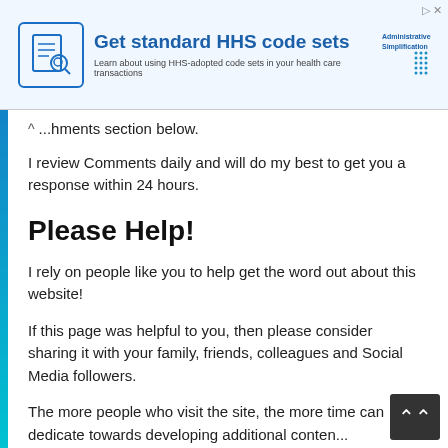[Figure (infographic): HHS Administrative Simplification ad banner: icon of a document with magnifying glass, title 'Get standard HHS code sets', subtitle 'Learn about using HHS-adopted code sets in your health care transactions', and Administrative Simplification logo on the right.]
...hments section below.
I review Comments daily and will do my best to get you a response within 24 hours.
Please Help!
I rely on people like you to help get the word out about this website!
If this page was helpful to you, then please consider sharing it with your family, friends, colleagues and Social Media followers.
The more people who visit the site, the more time can dedicate towards developing additional content...